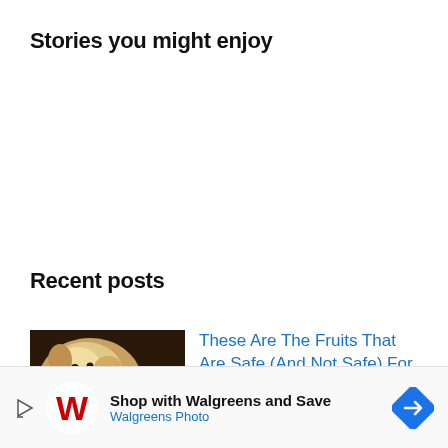Stories you might enjoy
Recent posts
[Figure (photo): Thumbnail photo of a yellow Labrador puppy holding a red apple/ball in its mouth against a dark background]
These Are The Fruits That Are Safe (And Not Safe) For Your Dog To Eat
[Figure (infographic): Walgreens Photo advertisement banner: play icon triangle, Walgreens cursive W logo, text 'Shop with Walgreens and Save' and 'Walgreens Photo', blue diamond arrow badge on the right]